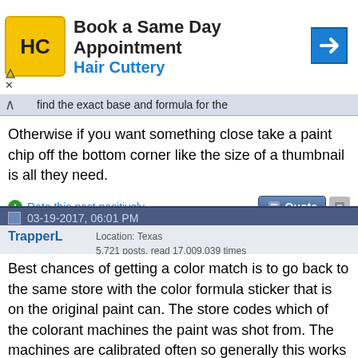[Figure (other): Hair Cuttery advertisement banner with logo, 'Book a Same Day Appointment' text, and navigation arrow icon]
find the exact base and formula for the
Otherwise if you want something close take a paint chip off the bottom corner like the size of a thumbnail is all they need.
Rate this post positively
03-19-2017, 06:01 PM
TrapperL
Location: Texas
5,721 posts, read 17,009,039 times
Best chances of getting a color match is to go back to the same store with the color formula sticker that is on the original paint can. The store codes which of the colorant machines the paint was shot from. The machines are calibrated often so generally this works but not always. The smaller the amount of paint, the less likely you'll get a good color match even with a known formula. The colorants are just too concentrated and the less you use the more inconsistent it gets. Imagine trying to get EXACTLY 1/168th of an ounce of colorant everytime. It ain't gonna